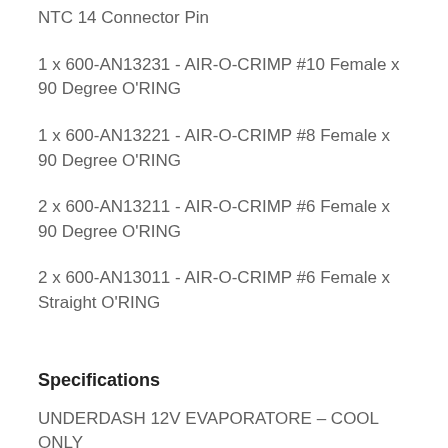NTC 14 Connector Pin
1 x 600-AN13231 - AIR-O-CRIMP #10 Female x 90 Degree O'RING
1 x 600-AN13221 - AIR-O-CRIMP #8 Female x 90 Degree O'RING
2 x 600-AN13211 - AIR-O-CRIMP #6 Female x 90 Degree O'RING
2 x 600-AN13011 - AIR-O-CRIMP #6 Female x Straight O'RING
Specifications
UNDERDASH 12V EVAPORATORE – COOL ONLY